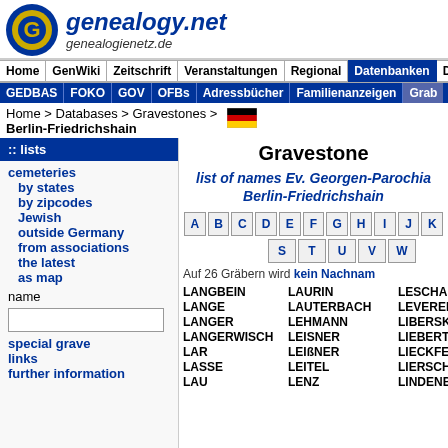[Figure (logo): genealogy.net logo with stylized G in blue/yellow circle, site title 'genealogy.net' and subtitle 'genealogienetz.de']
Home | GenWiki | Zeitschrift | Veranstaltungen | Regional | Datenbanken | DigiBib
GEDBAS | FOKO | GOV | OFBs | Adressbücher | Familienanzeigen | Grab
Home > Databases > Gravestones > Berlin-Friedrichshain
:: lists
cemeteries
by states
by zipcodes
Jewish
outside Germany
from associations
the latest
as map
name
special grave
links
further information
Gravestone
list of names Ev. Georgen-Parochia Berlin-Friedrichshain
Auf 26 Gräbern wird kein Nachnan
LANGBEIN LAURIN LESCHANOWS
LANGE LAUTERBACH LEVERENZ
LANGER LEHMANN LIBERSKI
LANGERWISCH LEISNER LIEBERT
LAR LEIßNER LIECKFELDT
LASSE LEITEL LIERSCH
LAU LENZ LINDENBERG